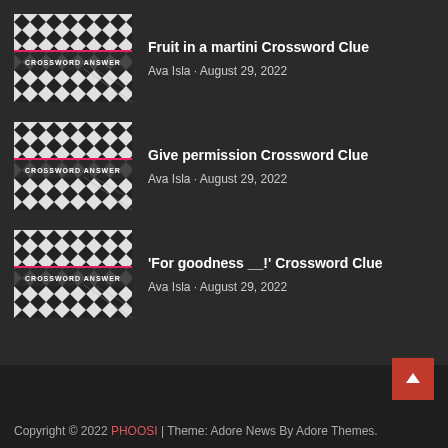[Figure (photo): Crossword puzzle thumbnail with black and white diamond pattern and 'CROSSWORD ANSWER' text on a dark banner]
Fruit in a martini Crossword Clue
Ava Isla · August 29, 2022
[Figure (photo): Crossword puzzle thumbnail with black and white diamond pattern and 'CROSSWORD ANSWER' text on a dark banner]
Give permission Crossword Clue
Ava Isla · August 29, 2022
[Figure (photo): Crossword puzzle thumbnail with black and white diamond pattern and 'CROSSWORD ANSWER' text on a dark banner]
'For goodness __!' Crossword Clue
Ava Isla · August 29, 2022
Copyright © 2022 PHOOSI | Theme: Adore News By Adore Themes.